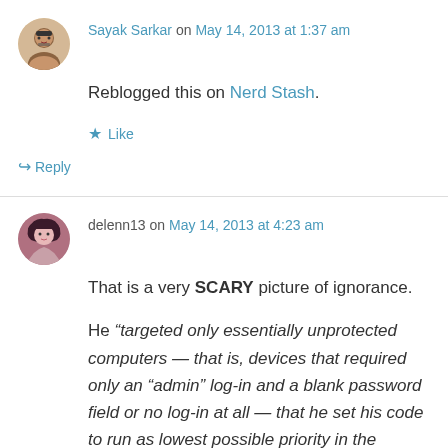Sayak Sarkar on May 14, 2013 at 1:37 am
Reblogged this on Nerd Stash.
Like
Reply
delenn13 on May 14, 2013 at 4:23 am
That is a very SCARY picture of ignorance.
He “targeted only essentially unprotected computers — that is, devices that required only an “admin” log-in and a blank password field or no log-in at all — that he set his code to run as lowest possible priority in the infected device to avoid interference, and also left a note behind